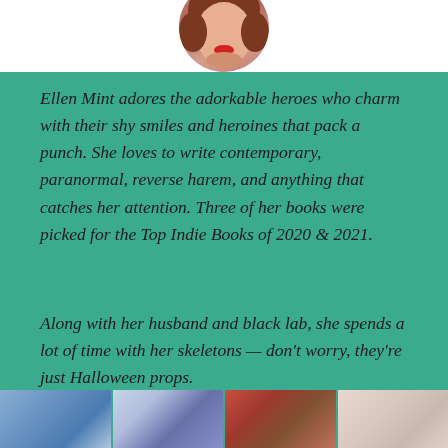[Figure (photo): Circular portrait photo of Ellen Mint, a woman with red hair and red lipstick, cropped at the top of the page]
Ellen Mint adores the adorkable heroes who charm with their shy smiles and heroines that pack a punch. She loves to write contemporary, paranormal, reverse harem, and anything that catches her attention. Three of her books were picked for the Top Indie Books of 2020 & 2021.
Along with her husband and black lab, she spends a lot of time with her skeletons — don't worry, they're just Halloween props.
Amazon |  BookBub | Goodreads | Facebook | Twitter | Instagram
[Figure (photo): Row of four book cover thumbnail images at the bottom of the page]